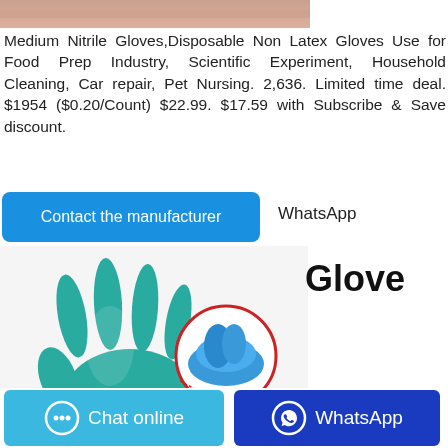[Figure (photo): Partial image of a person's skin/hand at the top of the page (cropped)]
Medium Nitrile Gloves,Disposable Non Latex Gloves Use for Food Prep Industry, Scientific Experiment, Household Cleaning, Car repair, Pet Nursing. 2,636. Limited time deal. $1954 ($0.20/Count) $22.99. $17.59 with Subscribe & Save discount.
Contact the manufacturer
WhatsApp
[Figure (photo): A teal/green medium nitrile disposable glove shown on a hand, with a circular inset zoom showing the cuff area in blue.]
Glove
Chat online
WhatsApp